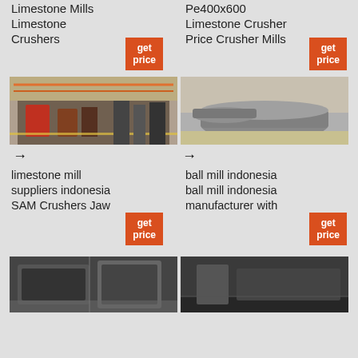Limestone Mills Limestone Crushers
[Figure (other): get price button orange]
Pe400x600 Limestone Crusher Price Crusher Mills
[Figure (other): get price button orange]
[Figure (photo): Industrial factory floor with heavy crushing machinery, red overhead cranes, yellow safety markings on floor]
[Figure (photo): Metal crusher parts/bowls/concaves stacked on floor near wall]
→
→
limestone mill suppliers indonesia SAM Crushers Jaw
[Figure (other): get price button orange]
ball mill indonesia ball mill indonesia manufacturer with
[Figure (other): get price button orange]
[Figure (photo): Industrial crusher machine, dark gray, in factory setting]
[Figure (photo): Dark industrial machinery interior]